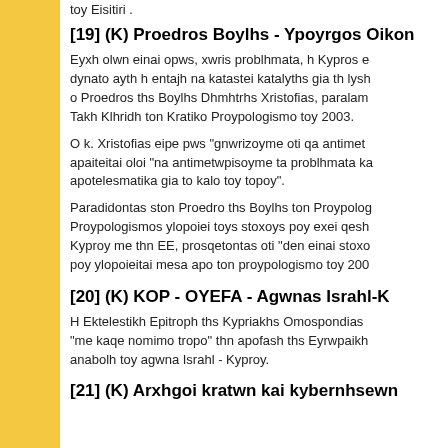toy Eisitiri .
[19] (K) Proedros Boylhs - Ypoyrgos Oikon
Eyxh olwn einai opws, xwris problhmata, h Kypros dynato ayth h entajh na katastei katalyths gia th lysh o Proedros ths Boylhs Dhmhtrhs Xristofias, paralami Takh Klhridh ton Kratiko Proypologismo toy 2003.
O k. Xristofias eipe pws "gnwrizoyme oti qa antimet apaiteitai oloi "na antimetwpisoyme ta problhmata k apotelesmatika gia to kalo toy topoy".
Paradidontas ston Proedro ths Boylhs ton Proypolog Proypologismos ylopoiei toys stoxoys poy exei qesh Kyproy me thn EE, prosqetontas oti "den einai stoxo poy ylopoieitai mesa apo ton proypologismo toy 200
[20] (K) KOP - OYEFA - Agwnas Israhl-K
H Ektelestikh Epitroph ths Kypriakhs Omospondias "me kaqe nomimo tropo" thn apofash ths Eyrwpaikh anabolh toy agwna Israhl - Kyproy.
[21] (K) Arxhgoi kratwn kai kybernhsewn